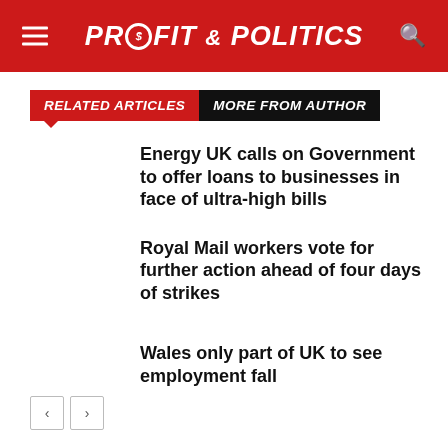PROFIT & POLITICS
RELATED ARTICLES  MORE FROM AUTHOR
Energy UK calls on Government to offer loans to businesses in face of ultra-high bills
Royal Mail workers vote for further action ahead of four days of strikes
Wales only part of UK to see employment fall